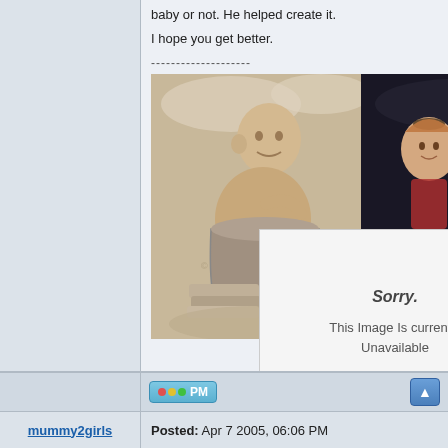baby or not. He helped create it.
I hope you get better.
--------------------
[Figure (photo): Sepia-toned vintage photo of a baby sitting in a metal bucket/tub with stuffed toys and folded towels]
[Figure (photo): Dark photo of a couple, a woman and a man wearing a cap and striped shirt, at what appears to be a nighttime event]
[Figure (other): Photobucket 'Sorry. This Image Is currently Unavailable' placeholder box]
Sorry.

This Image Is currently Unavailable
photobucket
PM
mummy2girls
Posted: Apr 7 2005, 06:06 PM